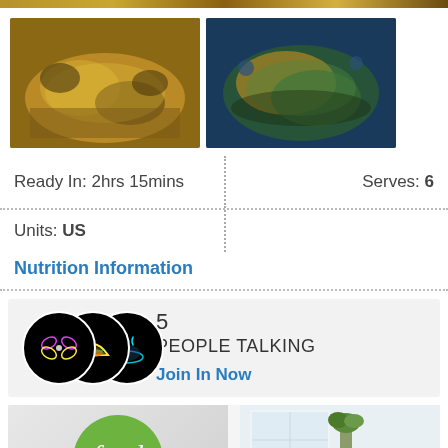[Figure (photo): Top strip showing food photos partially cropped]
[Figure (photo): Two food dish photos side by side - cheesy baked dishes]
Ready In: 2hrs 15mins
Serves: 6
Units: US
Nutrition Information
[Figure (infographic): Social section with 3 overlapping neon food icons, showing '5 PEOPLE TALKING' and 'Join In Now' link]
[Figure (photo): Advertisement banner with Food Network logo on left and kitchen photo on right]